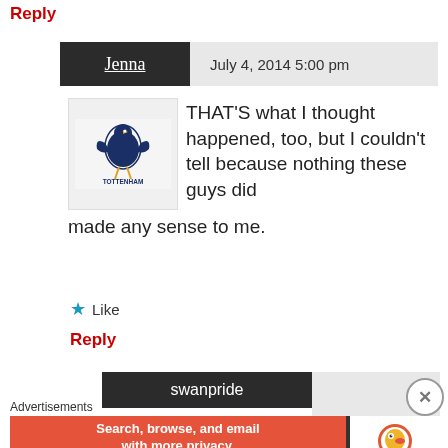Reply
Jenna  July 4, 2014 5:00 pm
THAT'S what I thought happened, too, but I couldn't tell because nothing these guys did made any sense to me.
★ Like
Reply
swanpride
Advertisements
[Figure (infographic): DuckDuckGo advertisement banner: orange background with text 'Search, browse, and email with more privacy. All in One Free App' and DuckDuckGo logo on the right side.]